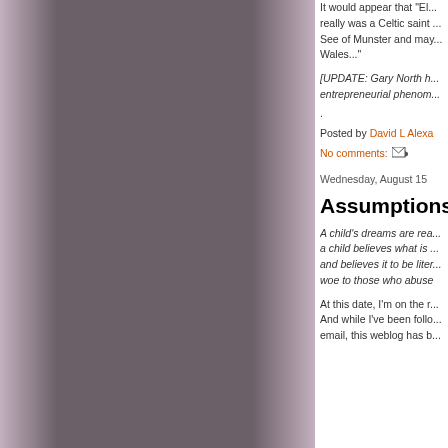[Figure (photo): Large sidebar image with dark grayish-purple gradient, taking up the left portion of the page]
It would appear that "El... really was a Celtic saint ... See of Munster and may... Wales..."
[UPDATE: Gary North h... entrepreneurial phenom... .
Posted by David L Alexa
No comments:
Wednesday, August 15
Assumptions
A child's dreams are rea... a child believes what is ... and believes it to be liter... woe to those who abuse
At this date, I'm on the r... And while I've been follo... email, this weblog has b...